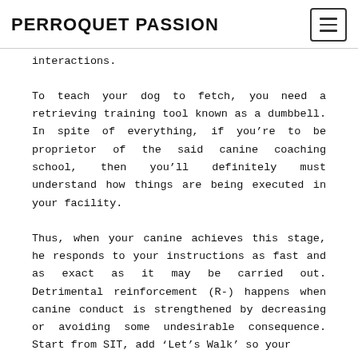PERROQUET PASSION
interactions.
To teach your dog to fetch, you need a retrieving training tool known as a dumbbell. In spite of everything, if you're to be proprietor of the said canine coaching school, then you'll definitely must understand how things are being executed in your facility.
Thus, when your canine achieves this stage, he responds to your instructions as fast and as exact as it may be carried out. Detrimental reinforcement (R-) happens when canine conduct is strengthened by decreasing or avoiding some undesirable consequence. Start from SIT, add 'Let's Walk' so your dog and...